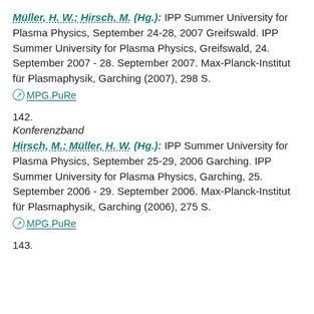Müller, H. W.; Hirsch, M. (Hg.): IPP Summer University for Plasma Physics, September 24-28, 2007 Greifswald. IPP Summer University for Plasma Physics, Greifswald, 24. September 2007 - 28. September 2007. Max-Planck-Institut für Plasmaphysik, Garching (2007), 298 S.
MPG.PuRe
142.
Konferenzband
Hirsch, M.; Müller, H. W. (Hg.): IPP Summer University for Plasma Physics, September 25-29, 2006 Garching. IPP Summer University for Plasma Physics, Garching, 25. September 2006 - 29. September 2006. Max-Planck-Institut für Plasmaphysik, Garching (2006), 275 S.
MPG.PuRe
143.